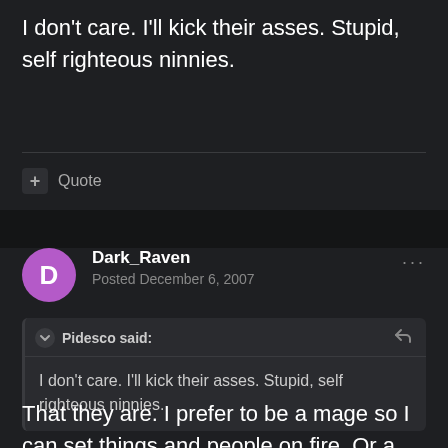I don't care. I'll kick their asses. Stupid, self righteous ninnies.
Quote
Dark_Raven
Posted December 6, 2007
Pidesco said:
I don't care. I'll kick their asses. Stupid, self righteous ninnies.
That they are. I prefer to be a mage so I can set things and people on fire. Or a bard, bards are awesome.